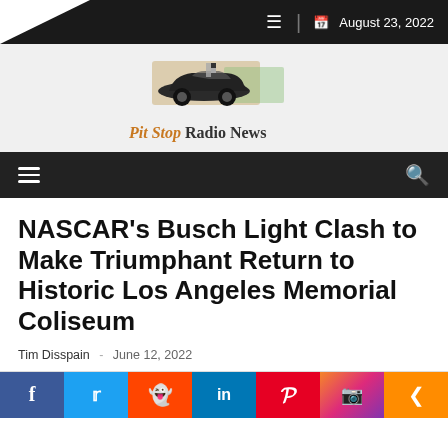August 23, 2022
[Figure (logo): Pit Stop Radio News logo with a classic car silhouette and text 'Pit Stop Radio News']
NASCAR's Busch Light Clash to Make Triumphant Return to Historic Los Angeles Memorial Coliseum
Tim Disspain  -  June 12, 2022